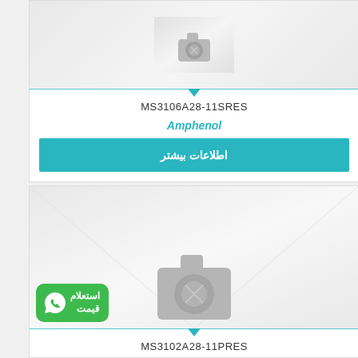[Figure (photo): Product placeholder image with camera icon for MS3106A28-11SRES]
MS3106A28-11SRES
Amphenol
اطلاعات بیشتر
[Figure (photo): Product placeholder image with camera icon for MS3102A28-11PRES, with WhatsApp inquiry badge]
MS3102A28-11PRES